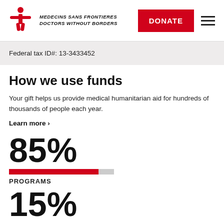[Figure (logo): Médecins Sans Frontières / Doctors Without Borders logo with red figure and MEDECINS SANS FRONTIERES DOCTORS WITHOUT BORDERS text]
DONATE
Federal tax ID#: 13-3433452
How we use funds
Your gift helps us provide medical humanitarian aid for hundreds of thousands of people each year.
Learn more ›
85%
[Figure (infographic): Red progress bar showing 85% fill against gray background]
PROGRAMS
15%